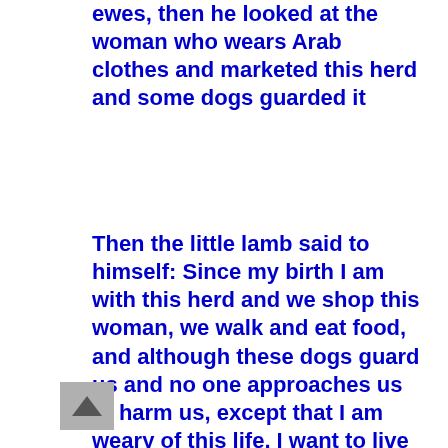ewes, then he looked at the woman who wears Arab clothes and marketed this herd and some dogs guarded it
Then the little lamb said to himself: Since my birth I am with this herd and we shop this woman, we walk and eat food, and although these dogs guard us and no one approaches us to harm us, except that I am weary of this life, I want to live free alone even for a few days
In his neglect of everyone, the little lamb hid behind one of the walls, until they turned away from it